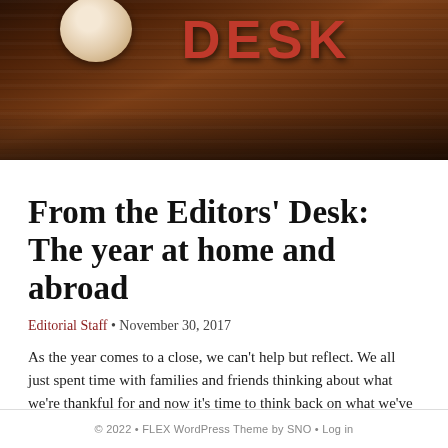[Figure (photo): Wooden background with 'DESK' text in red letters and a coffee cup partially visible at top, resembling a blog/newspaper header image]
From the Editors' Desk: The year at home and abroad
Editorial Staff • November 30, 2017
As the year comes to a close, we can't help but reflect. We all just spent time with families and friends thinking about what we're thankful for and now it's time to think back on what we've gone...
No more stories to load.
© 2022 • FLEX WordPress Theme by SNO • Log in